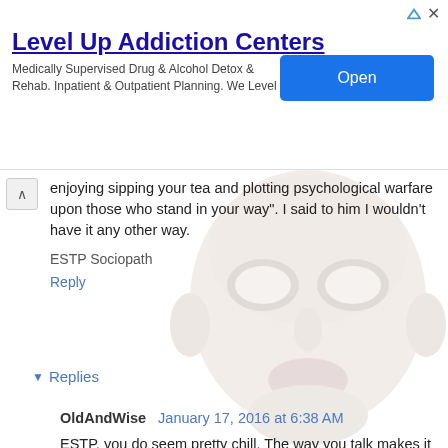[Figure (screenshot): Advertisement banner for Level Up Addiction Centers with title, description text, and blue Open button]
enjoying sipping your tea and plotting psychological warfare upon those who stand in your way". I said to him I wouldn't have it any other way.
ESTP Sociopath
Reply
Replies
OldAndWise January 17, 2016 at 6:38 AM
ESTP, you do seem pretty chill. The way you talk makes it feel like life is not unlike a video game to you.

What makes you blow a fuse?
Do you ever?
[Figure (illustration): White mask (anonymous face) overlaid on the comment section background]